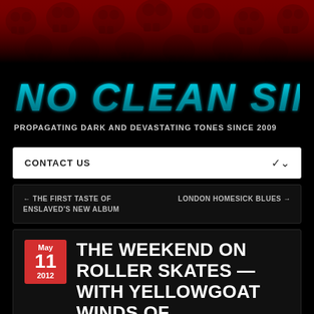[Figure (illustration): Red background with dark skull pattern decorative banner at top of website]
NO CLEAN SINGING
PROPAGATING DARK AND DEVASTATING TONES SINCE 2009
CONTACT US
← THE FIRST TASTE OF ENSLAVED'S NEW ALBUM
LONDON HOMESICK BLUES →
THE WEEKEND ON ROLLER SKATES — WITH YELLOWGOAT WINDS OF
May 11 2012